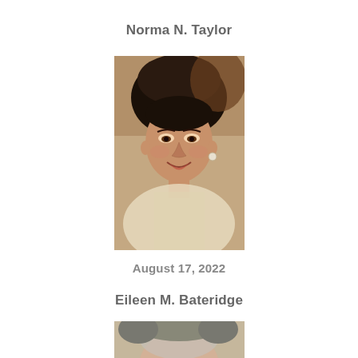Norma N. Taylor
[Figure (photo): Black and white portrait photo of a woman with dark bouffant hair, smiling, wearing earrings, in a formal outfit]
August 17, 2022
Eileen M. Bateridge
[Figure (photo): Partial photo of a second woman, cropped at bottom of page]